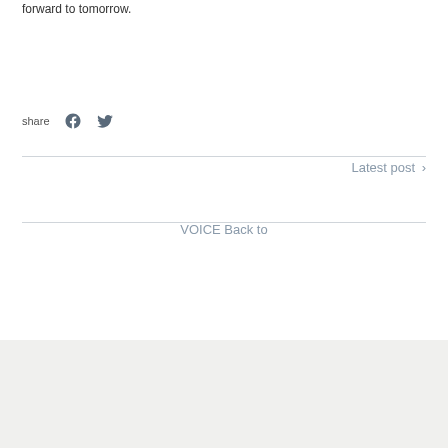forward to tomorrow.
share
Latest post >
VOICE Back to
Display regarding Specified Commercial Transactions Law
Privacy Policy   About returns   Company Profile